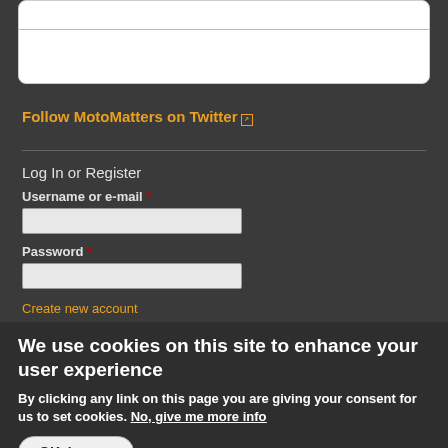[Figure (screenshot): White card UI element at top of page with a horizontal divider line]
Follow MotoMatters on Twitter
Log In or Register
Username or e-mail *
Password *
Create new account
We use cookies on this site to enhance your user experience
By clicking any link on this page you are giving your consent for us to set cookies. No, give me more info
OK, I agree